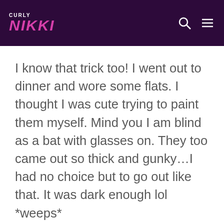CURLY NIKKI
I know that trick too! I went out to dinner and wore some flats. I thought I was cute trying to paint them myself. Mind you I am blind as a bat with glasses on. They too came out so thick and gunky…I had no choice but to go out like that. It was dark enough lol *weeps*
↳ Reply